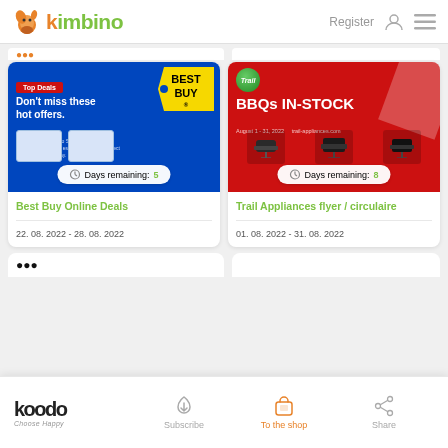kimbino — Register
[Figure (screenshot): Best Buy Online Deals flyer card with blue background, Best Buy logo tag, 'Top Deals - Don't miss these hot offers.' text, Days remaining: 5]
Best Buy Online Deals
22. 08. 2022 - 28. 08. 2022
[Figure (screenshot): Trail Appliances flyer card with red background, Trail logo, 'BBQs IN-STOCK' text, Days remaining: 8]
Trail Appliances flyer / circulaire
01. 08. 2022 - 31. 08. 2022
koodo Choose Happy — Subscribe — To the shop — Share